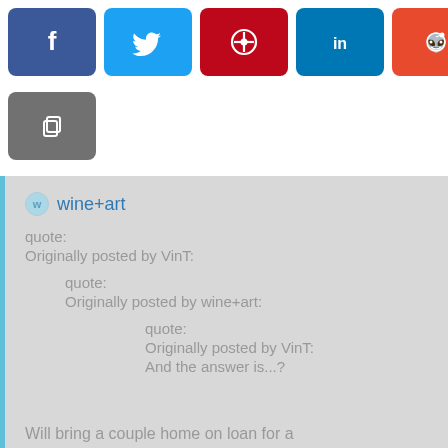[Figure (infographic): Social share buttons: Facebook (blue), Twitter (light blue), Pinterest (red), LinkedIn (dark teal), Reddit (orange-red), and a copy/clipboard button (gray)]
wine+art
quote:
Originally posted by VinT:
quote:
Originally posted by wine+art:
quote:
Originally posted by VinT:
And the answer is...?

Will bring a couple home on loan for a